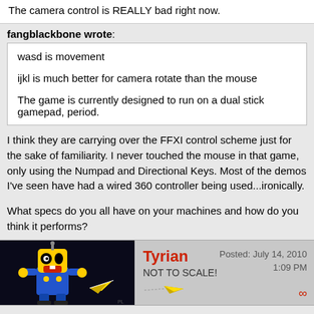The camera control is REALLY bad right now.
fangblackbone wrote:
wasd is movement

ijkl is much better for camera rotate than the mouse

The game is currently designed to run on a dual stick gamepad, period.
I think they are carrying over the FFXI control scheme just for the sake of familiarity. I never touched the mouse in that game, only using the Numpad and Directional Keys. Most of the demos I've seen have had a wired 360 controller being used...ironically.

What specs do you all have on your machines and how do you think it performs?
Tyrian
NOT TO SCALE!
Posted: July 14, 2010
1:09 PM
i7 920
9GB RAM
GTX260 216core
Win7 pro 64 bit